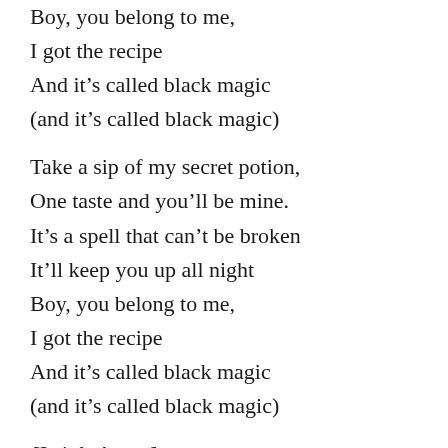Boy, you belong to me,
I got the recipe
And it's called black magic
(and it's called black magic)
Take a sip of my secret potion,
One taste and you'll be mine.
It's a spell that can't be broken
It'll keep you up all night
Boy, you belong to me,
I got the recipe
And it's called black magic
(and it's called black magic)
[Leigh-Anne:]
All the girls on the block knockin' at my door!
(I got the recipe)
We can change, but it's just the dreamer in me